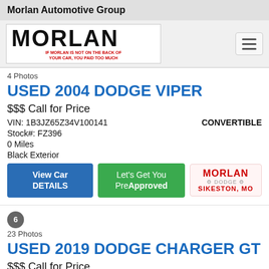Morlan Automotive Group
[Figure (logo): Morlan logo with tagline: IF MORLAN IS NOT ON THE BACK OF YOUR CAR, YOU PAID TOO MUCH]
4 Photos
USED 2004 DODGE VIPER
$$$ Call for Price
VIN: 1B3JZ65Z34V100141   CONVERTIBLE
Stock#: FZ396
0 Miles
Black Exterior
23 Photos
USED 2019 DODGE CHARGER GT
$$$ Call for Price
VIN: 2C3CDXUG1KH544845   SEDAN